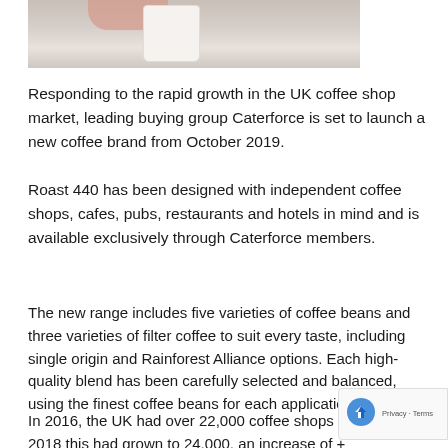[Figure (photo): Cropped photo showing a hand holding a white coffee cup on a light marble or table surface]
Responding to the rapid growth in the UK coffee shop market, leading buying group Caterforce is set to launch a new coffee brand from October 2019.
Roast 440 has been designed with independent coffee shops, cafes, pubs, restaurants and hotels in mind and is available exclusively through Caterforce members.
The new range includes five varieties of coffee beans and three varieties of filter coffee to suit every taste, including single origin and Rainforest Alliance options. Each high-quality blend has been carefully selected and balanced, using the finest coffee beans for each application.
In 2016, the UK had over 22,000 coffee shops and by 2018 this had grown to 24,000, an increase of +... These coffee shops consume 2.3 billion cups of coffee...